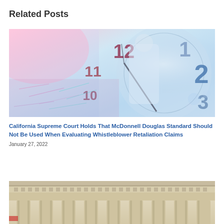Related Posts
[Figure (photo): Abstract composite photo with clock face numbers (11, 12, 1, 2, 3), blurred crowd scene, and business person silhouette with blue and pink tones]
California Supreme Court Holds That McDonnell Douglas Standard Should Not Be Used When Evaluating Whistleblower Retaliation Claims
January 27, 2022
[Figure (photo): Photo of classical courthouse columns and architectural detail, beige stone with ornate cornice]